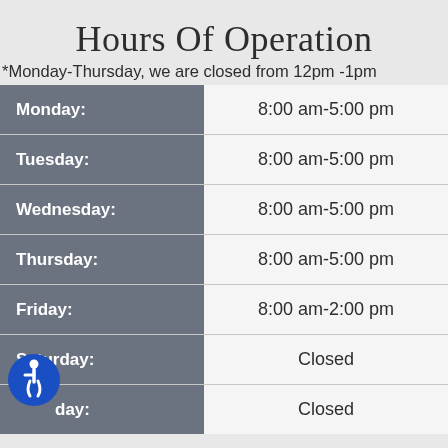Hours Of Operation
*Monday-Thursday, we are closed from 12pm -1pm
| Day | Hours |
| --- | --- |
| Monday: | 8:00 am-5:00 pm |
| Tuesday: | 8:00 am-5:00 pm |
| Wednesday: | 8:00 am-5:00 pm |
| Thursday: | 8:00 am-5:00 pm |
| Friday: | 8:00 am-2:00 pm |
| Saturday: | Closed |
| Sunday: | Closed |